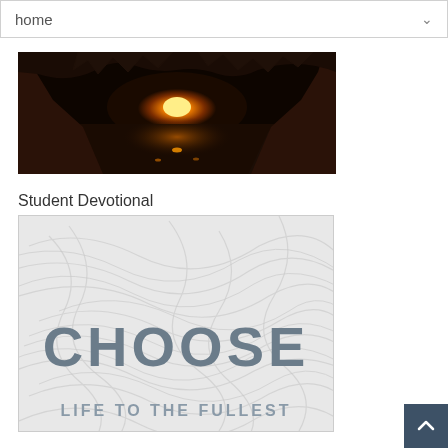home
[Figure (photo): View looking out from inside a dark rocky cave toward a glowing orange/golden sunset reflected on water below]
Student Devotional
[Figure (illustration): Book cover with light grey textured background showing large grey bold text 'CHOOSE' and beneath it 'LIFE TO THE FULLEST']